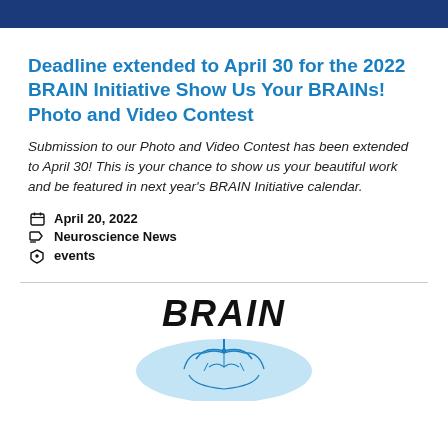[Figure (other): Dark navy blue banner at top of page, appears to be a website header bar]
Deadline extended to April 30 for the 2022 BRAIN Initiative Show Us Your BRAINs! Photo and Video Contest
Submission to our Photo and Video Contest has been extended to April 30! This is your chance to show us your beautiful work and be featured in next year's BRAIN Initiative calendar.
April 20, 2022
Neuroscience News
events
[Figure (logo): BRAIN Initiative logo showing the word BRAIN in bold italic above a circular graphic with a brain/neuron illustration]